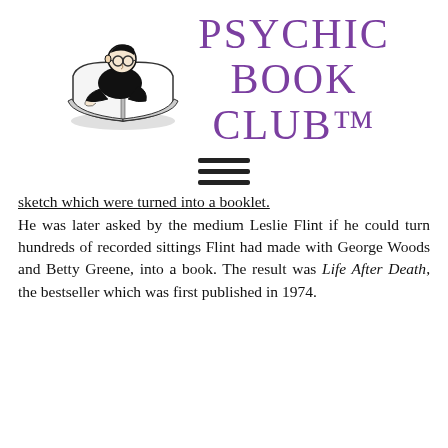[Figure (logo): Illustration of a person reading a large open book, black and white cartoon style]
PSYCHIC BOOK CLUB™
[Figure (other): Hamburger menu icon — three horizontal lines]
sketch which were turned into a booklet. He was later asked by the medium Leslie Flint if he could turn hundreds of recorded sittings Flint had made with George Woods and Betty Greene, into a book. The result was Life After Death, the bestseller which was first published in 1974.